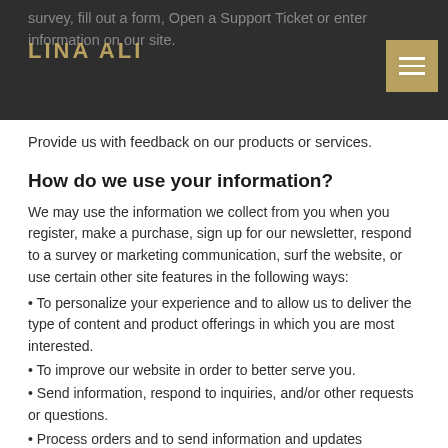LINA ALI
Provide us with feedback on our products or services.
How do we use your information?
We may use the information we collect from you when you register, make a purchase, sign up for our newsletter, respond to a survey or marketing communication, surf the website, or use certain other site features in the following ways:
• To personalize your experience and to allow us to deliver the type of content and product offerings in which you are most interested.
• To improve our website in order to better serve you.
• Send information, respond to inquiries, and/or other requests or questions.
• Process orders and to send information and updates pertaining to orders.